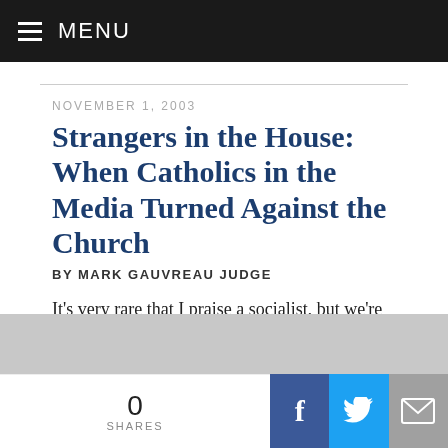MENU
NOVEMBER 1, 2003
Strangers in the House: When Catholics in the Media Turned Against the Church
BY MARK GAUVREAU JUDGE
It's very rare that I praise a socialist, but we're approaching a time when Robert Blatchford should be feted. Blatchford
0 SHARES